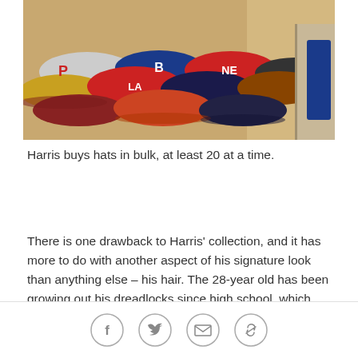[Figure (photo): A large collection of colorful sports caps and hats piled together, showing various team logos including what appears to be Philadelphia Phillies (P), Boston Red Sox (B), and others in red, blue, black, yellow and grey colors.]
Harris buys hats in bulk, at least 20 at a time.
There is one drawback to Harris' collection, and it has more to do with another aspect of his signature look than anything else – his hair. The 28-year old has been growing out his dreadlocks since high school, which means fitted hats for him are basically out of the question. His hair even has its own hashtag - #dredthedreads – which he started a few years ago.
[Figure (infographic): Social sharing bar with four circular icon buttons: Facebook (f), Twitter (bird), Email (envelope), and Link/chain icon]